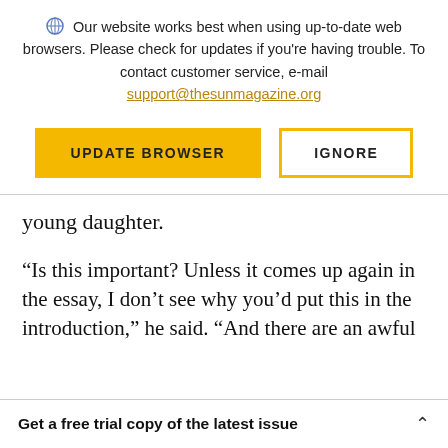Our website works best when using up-to-date web browsers. Please check for updates if you're having trouble. To contact customer service, e-mail support@thesunmagazine.org
[Figure (other): Two buttons: a yellow filled button labelled UPDATE BROWSER and a yellow-outlined white button labelled IGNORE]
young daughter.
“Is this important? Unless it comes up again in the essay, I don’t see why you’d put this in the introduction,” he said. “And there are an awful
Get a free trial copy of the latest issue